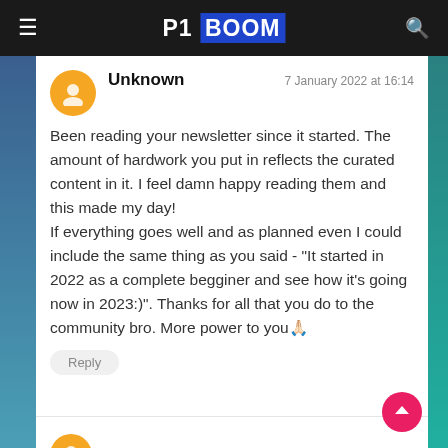P1 BOOM
Unknown
7 January 2022 at 16:14

Been reading your newsletter since it started. The amount of hardwork you put in reflects the curated content in it. I feel damn happy reading them and this made my day!
If everything goes well and as planned even I could include the same thing as you said - "It started in 2022 as a complete begginer and see how it's going now in 2023:)". Thanks for all that you do to the community bro. More power to you🙏🏻
Reply
kail linux fan
8 February 2022 at 1[...]